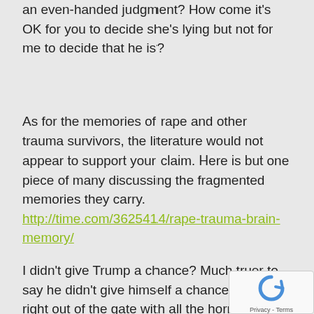an even-handed judgment? How come it's OK for you to decide she's lying but not for me to decide that he is?
As for the memories of rape and other trauma survivors, the literature would not appear to support your claim. Here is but one piece of many discussing the fragmented memories they carry. http://time.com/3625414/rape-trauma-brain-memory/
I didn't give Trump a chance? Much truer to say he didn't give himself a chance, coming right out of the gate with all the horrid, bullying, demagogic qualities that have been on full display since early campaign days and only grew worse once he b... president. Did you also complain to ... McCain that he never gave Trump a...